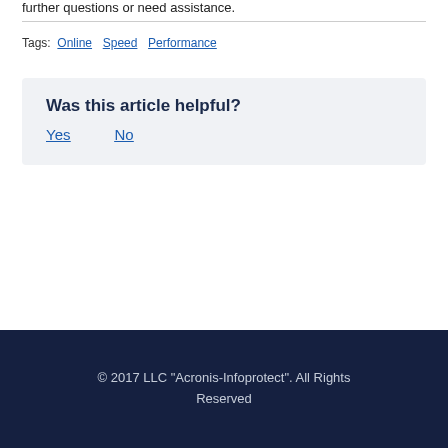further questions or need assistance.
Tags: Online  Speed  Performance
Was this article helpful?
Yes    No
© 2017 LLC "Acronis-Infoprotect". All Rights Reserved